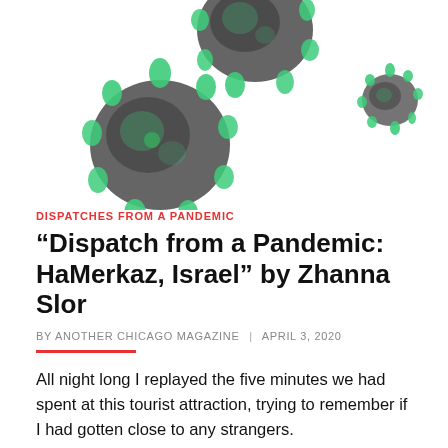[Figure (illustration): Illustration of coronavirus particles — dark grey spiky virus bodies with green protrusions/spikes on white background]
DISPATCHES FROM A PANDEMIC
“Dispatch from a Pandemic: HaMerkaz, Israel” by Zhanna Slor
BY ANOTHER CHICAGO MAGAZINE | APRIL 3, 2020
All night long I replayed the five minutes we had spent at this tourist attraction, trying to remember if I had gotten close to any strangers.
(nonfiction)